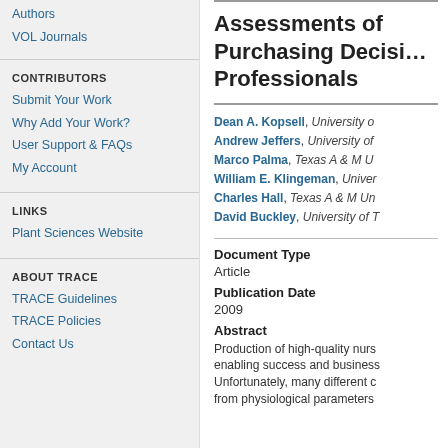Authors
VOL Journals
CONTRIBUTORS
Submit Your Work
Why Add Your Work?
User Support & FAQs
My Account
LINKS
Plant Sciences Website
ABOUT TRACE
TRACE Guidelines
TRACE Policies
Contact Us
Assessments of Purchasing Decisions Professionals
Dean A. Kopsell, University o...
Andrew Jeffers, University of...
Marco Palma, Texas A & M U...
William E. Klingeman, Univer...
Charles Hall, Texas A & M Un...
David Buckley, University of T...
Document Type
Article
Publication Date
2009
Abstract
Production of high-quality nurs... enabling success and business... Unfortunately, many different c... from physiological parameters...